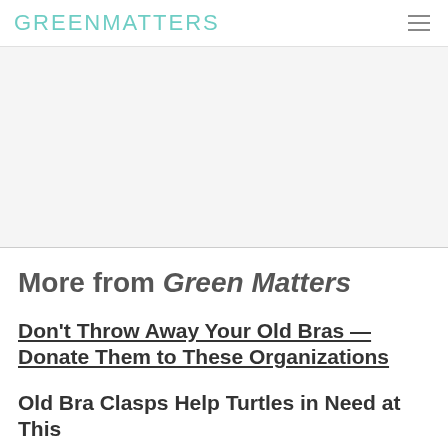GREENMATTERS
[Figure (other): Advertisement/blank area placeholder]
More from Green Matters
Don't Throw Away Your Old Bras — Donate Them to These Organizations
Old Bra Clasps Help Turtles in Need at This